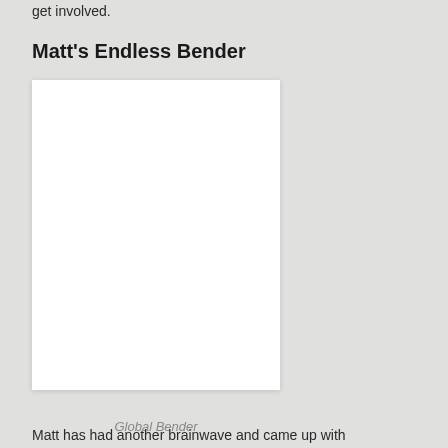get involved.
Matt's Endless Bender
[Figure (photo): A white rectangular image placeholder representing a book or publication cover with the label 'Global Bender' shown in italic gray text at the bottom.]
Global Bender
Matt has had another brainwave and came up with